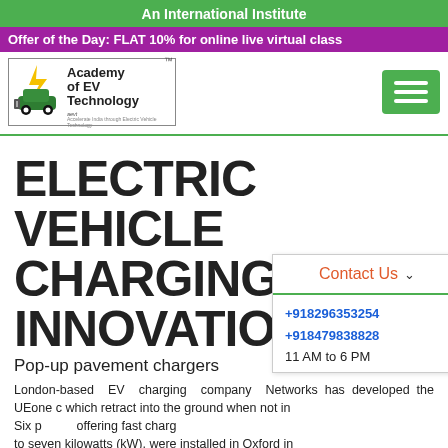An International Institute
Offer of the Day: FLAT 10% for online live virtual class
[Figure (logo): Academy of EV Technology (AEVT) logo with electric vehicle icon]
ELECTRIC VEHICLE CHARGING INNOVATIONS
Pop-up pavement chargers
London-based EV charging company Networks has developed the UEone which retract into the ground when not in Six p offering fast charg to seven kilowatts (kW), were installed in Oxford in November 2019 as part of a trial and the company plans to
Contact Us
+918296353254
+918479838828
11 AM to 6 PM
Become Training Partner